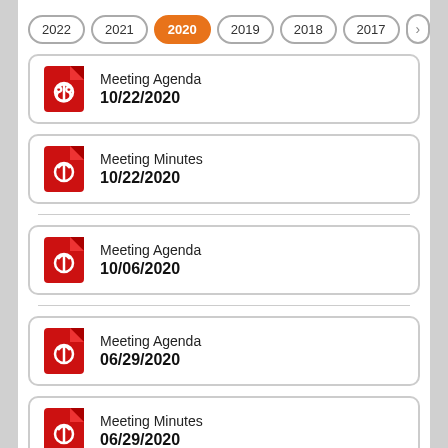2022
2021
2020 (active)
2019
2018
2017
Meeting Agenda
10/22/2020
Meeting Minutes
10/22/2020
Meeting Agenda
10/06/2020
Meeting Agenda
06/29/2020
Meeting Minutes
06/29/2020